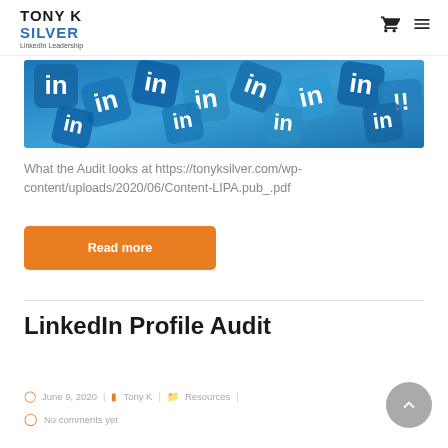TONY K SILVER LinkedIn Leadership
[Figure (photo): Pile of blue LinkedIn logo tiles/icons]
What the Audit looks at https://tonyksilver.com/wp-content/uploads/2020/06/Content-LIPA.pub_.pdf
Read more
LinkedIn Profile Audit
June 9, 2020 | Tony K | Resources
No comments yet